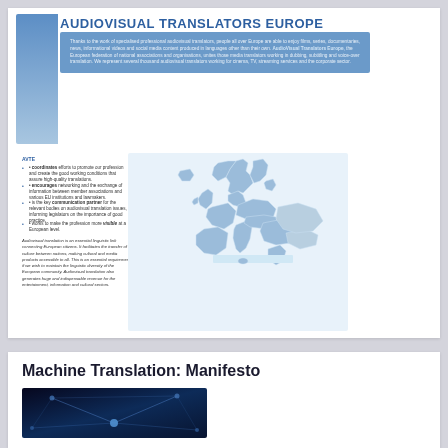AUDIOVISUAL TRANSLATORS EUROPE
Thanks to the work of specialised professional audiovisual translators, people all over Europe are able to enjoy films, series, documentaries, news, informational videos and social media content produced in languages other than their own. AudioVisual Translators Europe, the European federation of national associations and organisations, unites those media translators working in dubbing, subtitling and voice-over translation. We represent several thousand audiovisual translators working for cinema, TV, streaming services and the corporate sector.
AVTE
coordinates efforts to promote our profession and create the good working conditions that assure high-quality translations.
encourages networking and the exchange of information between member associations and various EU institutions and lawmakers.
is the key communication partner for the relevant bodies on audiovisual translation issues, informing legislators on the importance of good practice.
works to make the profession more visible at a European level.
Audiovisual translation is an essential linguistic link connecting European citizens. It facilitates the transfer of culture between nations, making cultural and media products accessible to all. This is an essential requirement if we wish to maintain the linguistic diversity of the European community. Audiovisual translation also generates huge and indispensable revenue for the entertainment, information and cultural sectors.
[Figure (map): Map of Europe showing countries shaded in light blue, representing the region covered by Audiovisual Translators Europe.]
Machine Translation: Manifesto
[Figure (photo): Dark blue network/connectivity graphic with light lines and nodes on a deep blue background.]